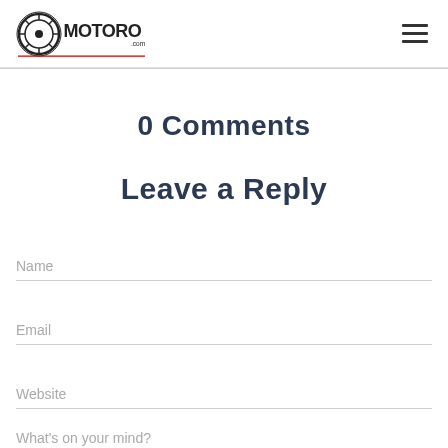MOTOROLOGIST.com
0 Comments
Leave a Reply
Name
Email
Website
What's on your mind?